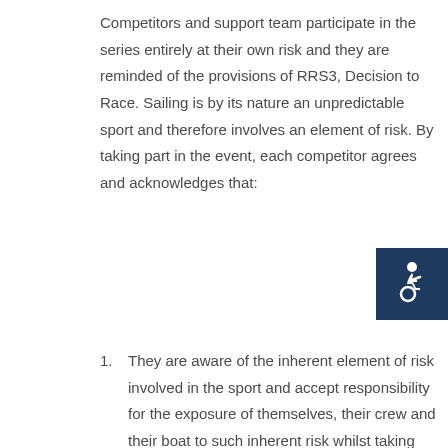Competitors and support team participate in the series entirely at their own risk and they are reminded of the provisions of RRS3, Decision to Race. Sailing is by its nature an unpredictable sport and therefore involves an element of risk. By taking part in the event, each competitor agrees and acknowledges that:
[Figure (illustration): Accessibility icon — white wheelchair user symbol on dark navy blue square background]
They are aware of the inherent element of risk involved in the sport and accept responsibility for the exposure of themselves, their crew and their boat to such inherent risk whilst taking part in the event;
They are responsible for the safety of themselves, their crew, their boat and their